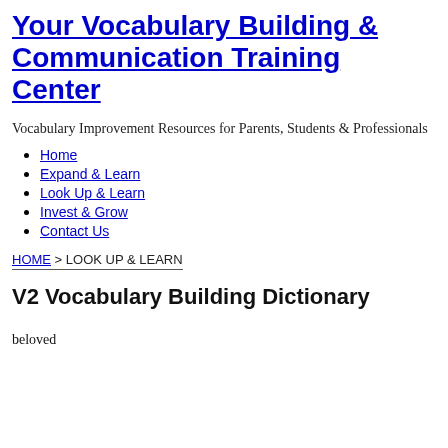Your Vocabulary Building & Communication Training Center
Vocabulary Improvement Resources for Parents, Students & Professionals
Home
Expand & Learn
Look Up & Learn
Invest & Grow
Contact Us
HOME > LOOK UP & LEARN
V2 Vocabulary Building Dictionary
beloved